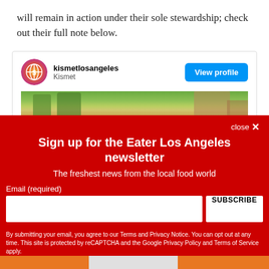will remain in action under their sole stewardship; check out their full note below.
[Figure (screenshot): Instagram embed card showing kismetlosangeles profile with 'View profile' button and a partial outdoor photo]
close ✕
Sign up for the Eater Los Angeles newsletter
The freshest news from the local food world
Email (required)
SUBSCRIBE
By submitting your email, you agree to our Terms and Privacy Notice. You can opt out at any time. This site is protected by reCAPTCHA and the Google Privacy Policy and Terms of Service apply.